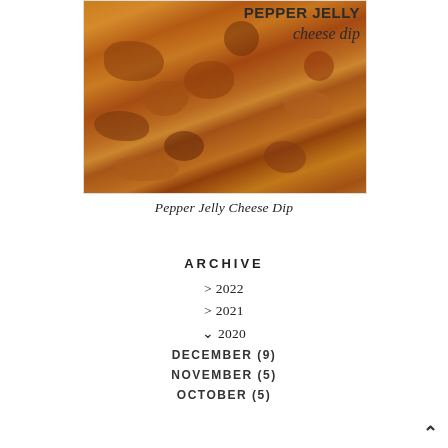[Figure (photo): Close-up photo of Pepper Jelly Cheese Dip in a glass baking dish, with golden-brown melted cheese, red pepper jelly glaze, and bits of visible ingredients. Text overlay reads 'Pepper Jelly cheese dip' in bold and italic script.]
Pepper Jelly Cheese Dip
ARCHIVE
> 2022
> 2021
∨ 2020
DECEMBER (9)
NOVEMBER (5)
OCTOBER (5)